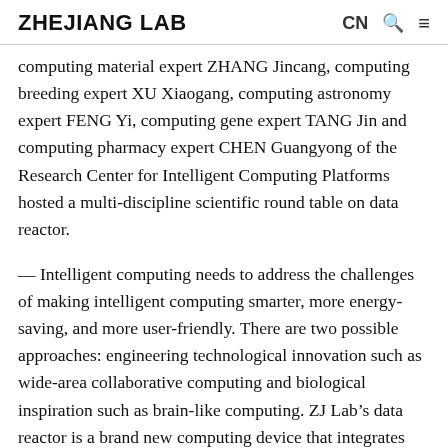ZHEJIANG LAB  CN  🔍  ≡
computing material expert ZHANG Jincang, computing breeding expert XU Xiaogang, computing astronomy expert FENG Yi, computing gene expert TANG Jin and computing pharmacy expert CHEN Guangyong of the Research Center for Intelligent Computing Platforms hosted a multi-discipline scientific round table on data reactor.
— Intelligent computing needs to address the challenges of making intelligent computing smarter, more energy-saving, and more user-friendly. There are two possible approaches: engineering technological innovation such as wide-area collaborative computing and biological inspiration such as brain-like computing. ZJ Lab's data reactor is a brand new computing device that integrates general computing clusters, intelligent supercomputer clusters and new computation and computing strength resources such as brain-like computing, optical computing, and graph processing to create a reactor operation system to allocate optimal computing resources for complicated computing tasks, and apply optimal computing methods, in order to get optimal results to support scientific research, social governance and digital economic development.